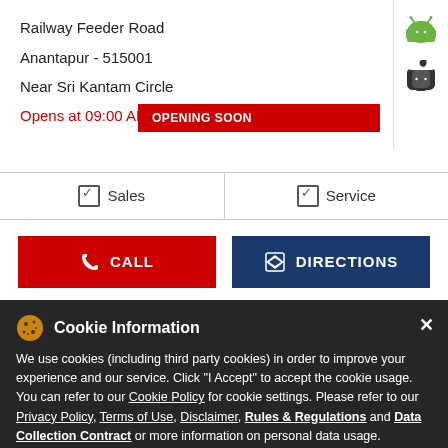Railway Feeder Road
Anantapur - 515001
Near Sri Kantam Circle
Opens at 09:00 AM
OPENING SOON
[Figure (infographic): Android and Apple app store icons in a white side panel]
| ✓ Sales | ✓ Service |
CALL
DIRECTIONS
Cookie Information
We use cookies (including third party cookies) in order to improve your experience and our service. Click "I Accept" to accept the cookie usage. You can refer to our Cookie Policy for cookie settings. Please refer to our Privacy Policy, Terms of Use, Disclaimer, Rules & Regulations and Data Collection Contract or more information on personal data usage.
Featured Product
I ACCEPT